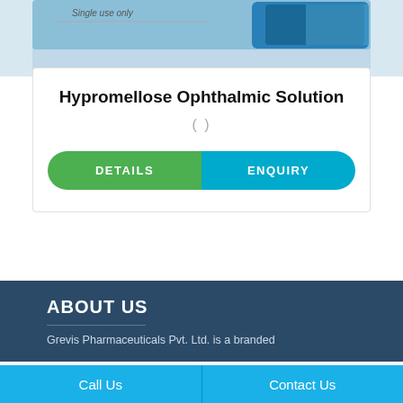[Figure (photo): Product photo of Hypromellose Ophthalmic Solution packaging, showing a blue and white box with text 'Single use only']
Hypromellose Ophthalmic Solution
()
DETAILS
ENQUIRY
ABOUT US
Grevis Pharmaceuticals Pvt. Ltd. is a branded
Call Us   Contact Us